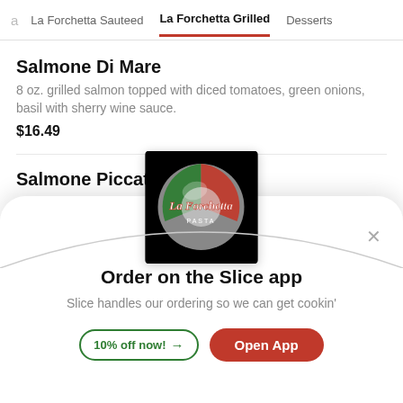La Forchetta Sauteed | La Forchetta Grilled | Desserts
Salmone Di Mare
8 oz. grilled salmon topped with diced tomatoes, green onions, basil with sherry wine sauce.
$16.49
Salmone Piccata
8 oz. grilled salm... sauce
[Figure (logo): La Forchetta restaurant logo — a circular disc with Italian flag colors (green, white, red) and cursive text 'La Forchetta' on a black background]
Order on the Slice app
Slice handles our ordering so we can get cookin'
10% off now!
Open App